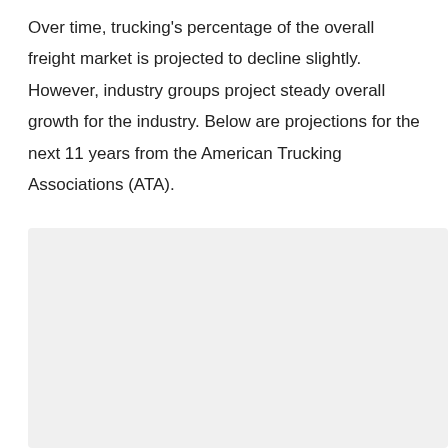Over time, trucking's percentage of the overall freight market is projected to decline slightly. However, industry groups project steady overall growth for the industry. Below are projections for the next 11 years from the American Trucking Associations (ATA).
|  |  |
| --- | --- |
| Trucking Freight Volume Growth |  |
| For 2017 | 2.8% |
| For 2018-2023 | 3.4% |
| For 2024-2028 | 2.3% |